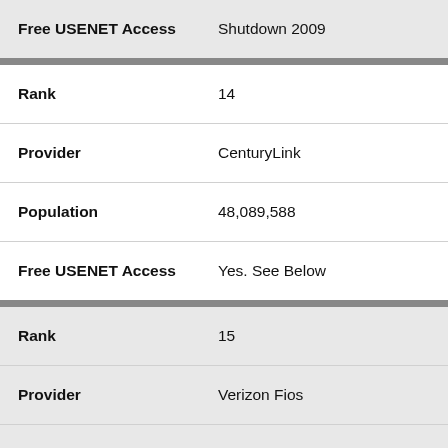| Field | Value |
| --- | --- |
| Free USENET Access | Shutdown 2009 |
| Field | Value |
| --- | --- |
| Rank | 14 |
| Provider | CenturyLink |
| Population | 48,089,588 |
| Free USENET Access | Yes. See Below |
| Field | Value |
| --- | --- |
| Rank | 15 |
| Provider | Verizon Fios |
| Population | 32,722,584 |
| Free USENET Access | Shutdown 2009 |
| Field | Value |
| --- | --- |
| Rank | 16 |
| Provider | Frontier Communications |
| Population | 28,724,887 |
| Free USENET Access | Shutdown 2016 |